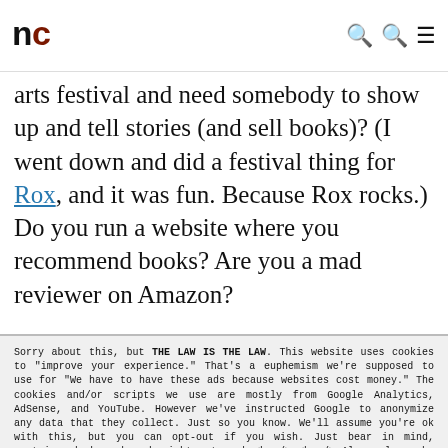nc — navigation bar with logo and icons
arts festival and need somebody to show up and tell stories (and sell books)? (I went down and did a festival thing for Rox, and it was fun. Because Rox rocks.) Do you run a website where you recommend books? Are you a mad reviewer on Amazon?
Sorry about this, but THE LAW IS THE LAW. This website uses cookies to "improve your experience." That's a euphemism we're supposed to use for "We have to have these ads because websites cost money." The cookies and/or scripts we use are mostly from Google Analytics, AdSense, and YouTube. However we've instructed Google to anonymize any data that they collect. Just so you know. We'll assume you're ok with this, but you can opt-out if you wish. Just bear in mind, certain embeds and such might not work.<br /> <br /> Also, please be aware that when we link out to products, we may earn a commission for doing so. Because we're certainly not doing it for our health. See our privacy policy & terms of use for more info than you would ever want to know. - Privacy Policy & Terms of Use